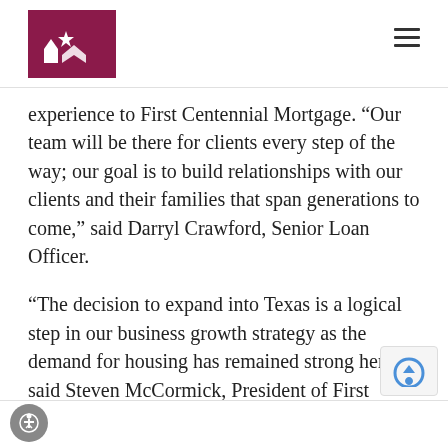First Centennial Mortgage
experience to First Centennial Mortgage. “Our team will be there for clients every step of the way; our goal is to build relationships with our clients and their families that span generations to come,” said Darryl Crawford, Senior Loan Officer.
“The decision to expand into Texas is a logical step in our business growth strategy as the demand for housing has remained strong here,” said Steven McCormick, President of First Centennial Mortgage. “Our success comes from a continued dedication to servicing our customers.  As a family-owned business, we are committed to providing our clients with a difference and